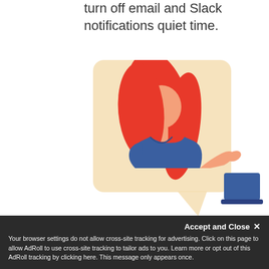turn off email and Slack notifications quiet time.
[Figure (illustration): An illustrated woman with long red hair wearing a blue t-shirt, shown from the waist up inside a speech bubble with a pale yellow/beige background. She has a neutral face (no facial features drawn) and her right arm is extended outward in a presenting gesture. A blue laptop is partially visible in the bottom right corner.]
Accept and Close ✕
Your browser settings do not allow cross-site tracking for advertising. Click on this page to allow AdRoll to use cross-site tracking to tailor ads to you. Learn more or opt out of this AdRoll tracking by clicking here. This message only appears once.